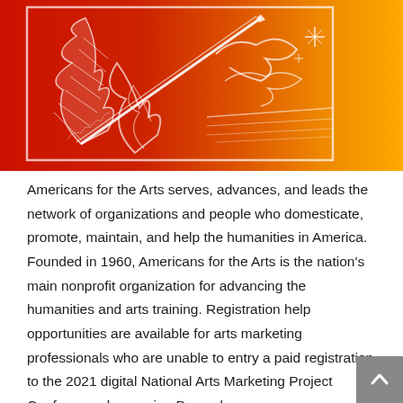[Figure (illustration): A woodcut-style illustration of a figure with feathers and a quill/pen, rendered in red and orange gradient colors on white, depicting an arts-themed artistic print.]
Americans for the Arts serves, advances, and leads the network of organizations and people who domesticate, promote, maintain, and help the humanities in America. Founded in 1960, Americans for the Arts is the nation's main nonprofit organization for advancing the humanities and arts training. Registration help opportunities are available for arts marketing professionals who are unable to entry a paid registration to the 2021 digital National Arts Marketing Project Conference, happening December